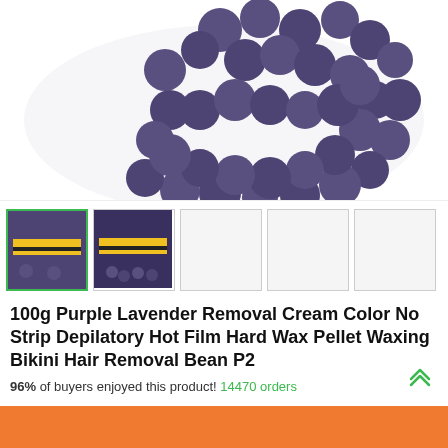[Figure (photo): Close-up photo of purple/dark blue wax pellets (round disc shapes) on a white surface, partially cropped at top]
[Figure (photo): Thumbnail 1 (active/selected): Small package of purple wax pellets with yellow and black striped band, showing wax beads spilling out. Green border indicating selection.]
[Figure (photo): Thumbnail 2: Similar package of purple wax pellets with yellow and black striped band]
[Figure (photo): Thumbnail 3: Empty/blank white thumbnail]
[Figure (photo): Thumbnail 4: Empty/blank white thumbnail]
[Figure (photo): Thumbnail 5: Empty/blank white thumbnail]
100g Purple Lavender Removal Cream Color No Strip Depilatory Hot Film Hard Wax Pellet Waxing Bikini Hair Removal Bean P2
96% of buyers enjoyed this product! 14470 orders
Quantity: 1